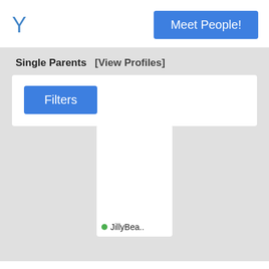Y
Meet People!
Single Parents   [View Profiles]
Filters
[Figure (screenshot): Profile card with blank white image area and username JillyBea.. with green online indicator dot]
JillyBea..